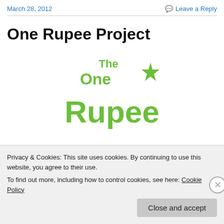March 28, 2012    Leave a Reply
One Rupee Project
[Figure (logo): The One Rupee logo in green, featuring stylized text 'The One Rupee' with a crescent moon and star symbol]
Privacy & Cookies: This site uses cookies. By continuing to use this website, you agree to their use.
To find out more, including how to control cookies, see here: Cookie Policy
Close and accept